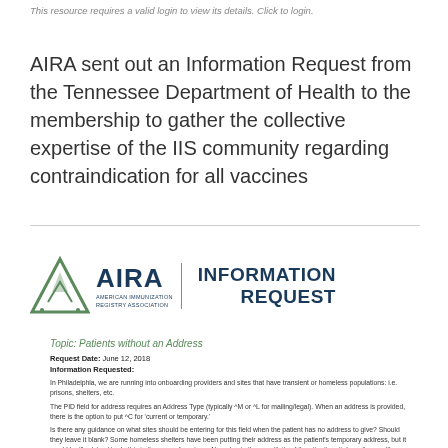This resource requires a valid login to view its details. Click to login.
AIRA sent out an Information Request from the Tennessee Department of Health to the membership to gather the collective expertise of the IIS community regarding contraindication for all vaccines
[Figure (logo): AIRA American Immunization Registry Association logo with triangle icon, vertical divider, and 'INFORMATION REQUEST' text in bold dark navy]
Topic: Patients without an Address
Request Date: June 12, 2018
Information Requested:
In Philadelphia, we are running into onboarding providers and sites that have transient or homeless populations: i.e. prisons, shelters, etc.
The PID field for address requires an Address Type (typically ^M or ^L for mailing/legal). When an address is provided, there is the option to put ^C for 'current or temporary.'
Is there any guidance on what sites should be entering for this field when the patient has no address to give? Should they leave it blank? Some homeless shelters have been putting their address as the patient's temporary address, but it would be ill advised to do this in the case of a prison. Also, due to the sensitivity of the situation, it doesn't seem like a good idea to list the homeless shelter as the address either, is an NPI or some other identifier…